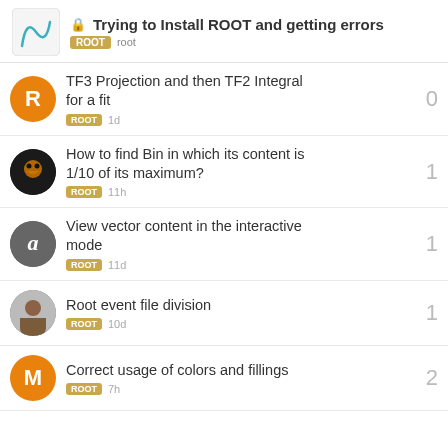Trying to Install ROOT and getting errors — ROOT root
TF3 Projection and then TF2 Integral for a fit — ROOT — 1d — 0 replies
How to find Bin in which its content is 1/10 of its maximum? — ROOT — 11h — 1 reply
View vector content in the interactive mode — ROOT — 11d — 1 reply
Root event file division — ROOT — 10d — 1 reply
Correct usage of colors and fillings — ROOT — 7h — 2 replies